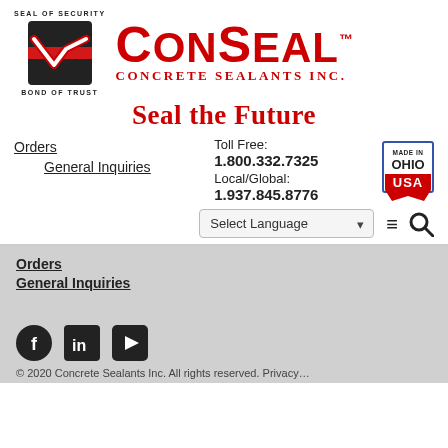[Figure (logo): ConSeal Concrete Sealants Inc. logo with black seal mark on left and red CONSEAL text with CONCRETE SEALANTS INC. subtitle on right. SEAL OF SECURITY above and BOND OF TRUST below the seal mark.]
Seal the Future
Orders
General Inquiries
Toll Free: 1.800.332.7325
Local/Global: 1.937.845.8776
[Figure (logo): Made in Ohio USA badge/seal]
Select Language dropdown, hamburger menu icon, search icon
Orders
General Inquiries
© 2020 Concrete Sealants Inc. All rights reserved. Privacy…